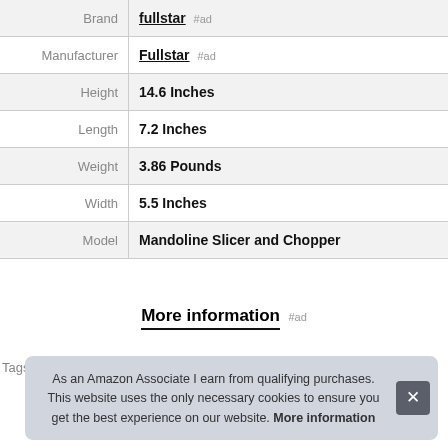| Property | Value |
| --- | --- |
| Brand | fullstar #ad |
| Manufacturer | Fullstar #ad |
| Height | 14.6 Inches |
| Length | 7.2 Inches |
| Weight | 3.86 Pounds |
| Width | 5.5 Inches |
| Model | Mandoline Slicer and Chopper |
More information #ad
As an Amazon Associate I earn from qualifying purchases. This website uses the only necessary cookies to ensure you get the best experience on our website. More information
Tags